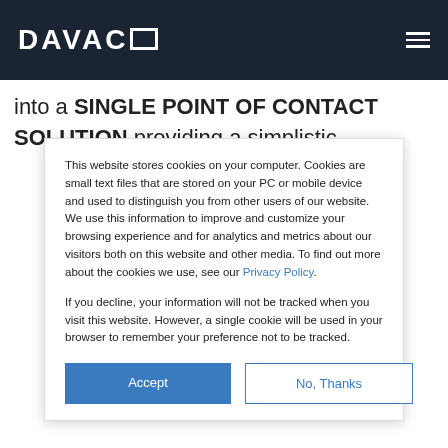[Figure (logo): DAVACO logo in white on dark navy background with hamburger menu icon]
into a SINGLE POINT OF CONTACT
SOLUTION, providing a simplistic
This website stores cookies on your computer. Cookies are small text files that are stored on your PC or mobile device and used to distinguish you from other users of our website. We use this information to improve and customize your browsing experience and for analytics and metrics about our visitors both on this website and other media. To find out more about the cookies we use, see our Privacy Policy.
If you decline, your information will not be tracked when you visit this website. However, a single cookie will be used in your browser to remember your preference not to be tracked.